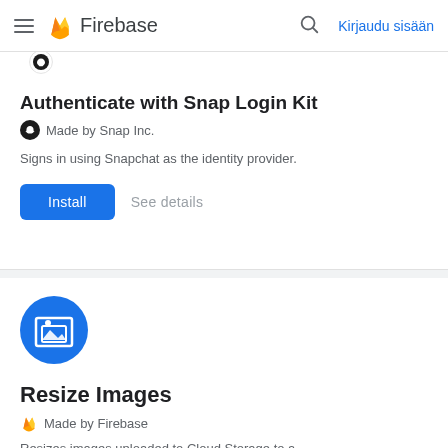Firebase — Kirjaudu sisään
Authenticate with Snap Login Kit
Made by Snap Inc.
Signs in using Snapchat as the identity provider.
Install  See details
[Figure (logo): Blue circle icon with image/landscape symbol for Resize Images extension]
Resize Images
Made by Firebase
Resizes images uploaded to Cloud Storage to a specified size, and optionally keeps or deletes the